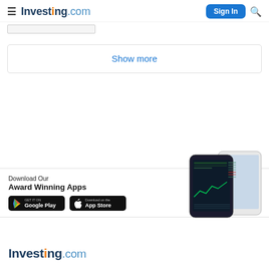Investing.com — Sign In
[Figure (screenshot): Partial strip/bar visible at top of page content area]
Show more
Download Our Award Winning Apps
[Figure (screenshot): Google Play Store badge and Apple App Store badge]
[Figure (screenshot): Phone mockups showing Investing.com app interface]
[Figure (logo): Investing.com footer logo]